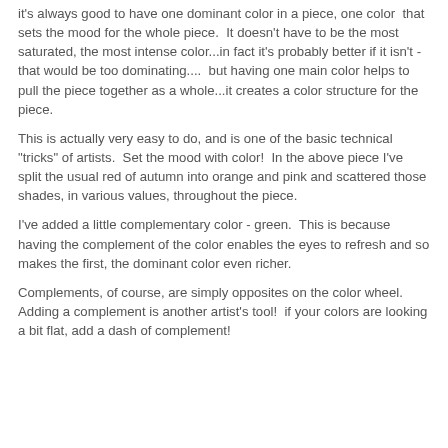it's always good to have one dominant color in a piece, one color that sets the mood for the whole piece. It doesn't have to be the most saturated, the most intense color...in fact it's probably better if it isn't - that would be too dominating.... but having one main color helps to pull the piece together as a whole...it creates a color structure for the piece.
This is actually very easy to do, and is one of the basic technical "tricks" of artists. Set the mood with color! In the above piece I've split the usual red of autumn into orange and pink and scattered those shades, in various values, throughout the piece.
I've added a little complementary color - green. This is because having the complement of the color enables the eyes to refresh and so makes the first, the dominant color even richer.
Complements, of course, are simply opposites on the color wheel.
Adding a complement is another artist's tool! if your colors are looking a bit flat, add a dash of complement!